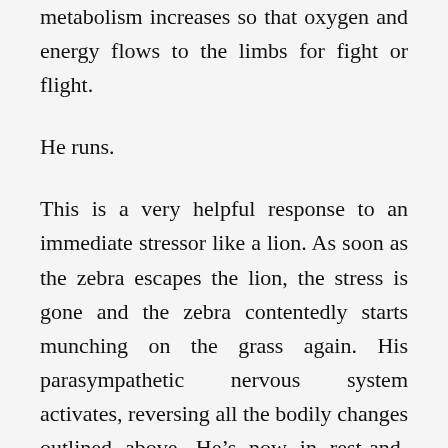metabolism increases so that oxygen and energy flows to the limbs for fight or flight.
He runs.
This is a very helpful response to an immediate stressor like a lion. As soon as the zebra escapes the lion, the stress is gone and the zebra contentedly starts munching on the grass again. His parasympathetic nervous system activates, reversing all the bodily changes outlined above. He’s now in rest-and-digest mode.
When humans experience long-term stress, many of the same pathways as short-term stress are activated, leading to chronically increased blood pressure, poor digestion, dysfunctional glucose metabolism, and